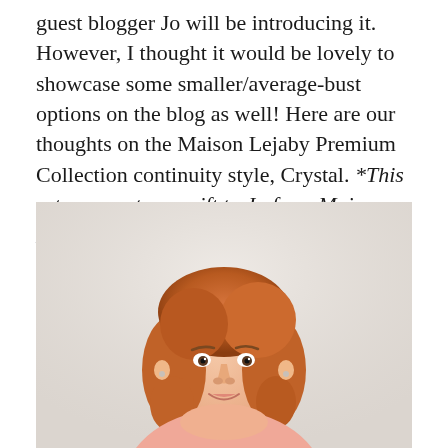guest blogger Jo will be introducing it. However, I thought it would be lovely to showcase some smaller/average-bust options on the blog as well! Here are our thoughts on the Maison Lejaby Premium Collection continuity style, Crystal. *This set was sent as a gift to Jo from Maison Lejaby. This does not affect her or my opinions on the set.*
[Figure (photo): Portrait photo of a young woman with short curly auburn/red hair, smiling, wearing a light pink top, photographed against a pale beige/cream background.]